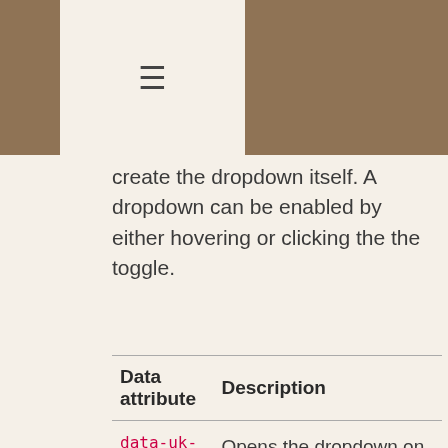create the dropdown itself. A dropdown can be enabled by either hovering or clicking the the toggle.
| Data attribute | Description |
| --- | --- |
| data-uk-dropdown | Opens the dropdown on hover and adds a little delay, so the dropdown won't disappear immediately once you |